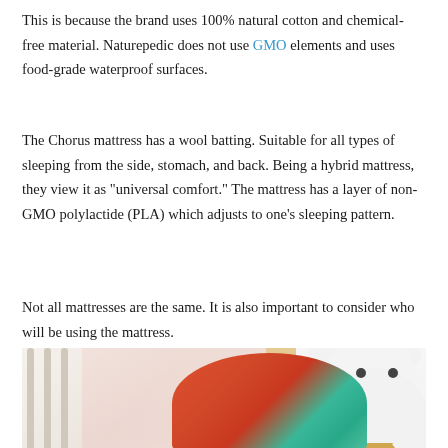This is because the brand uses 100% natural cotton and chemical-free material. Naturepedic does not use GMO elements and uses food-grade waterproof surfaces.
The Chorus mattress has a wool batting. Suitable for all types of sleeping from the side, stomach, and back. Being a hybrid mattress, they view it as "universal comfort." The mattress has a layer of non-GMO polylactide (PLA) which adjusts to one's sleeping pattern.
Not all mattresses are the same. It is also important to consider who will be using the mattress.
[Figure (photo): A baby wearing a colorful patterned bonnet/hood sitting in a crib, with a large white polar bear stuffed animal to the right and a small yellow teddy bear in the foreground.]